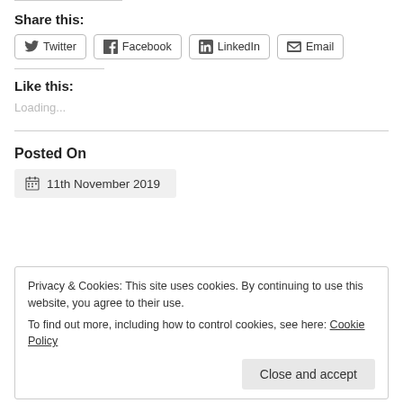Share this:
Twitter
Facebook
LinkedIn
Email
Like this:
Loading...
Posted On
11th November 2019
Privacy & Cookies: This site uses cookies. By continuing to use this website, you agree to their use.
To find out more, including how to control cookies, see here: Cookie Policy
Close and accept